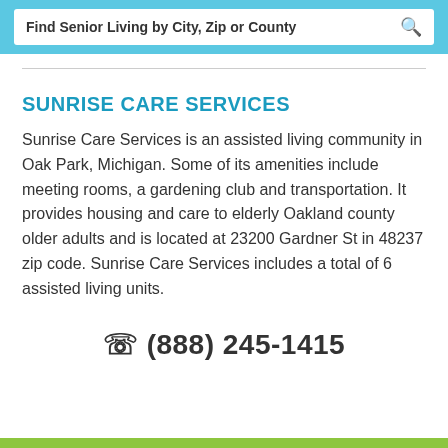Find Senior Living by City, Zip or County
SUNRISE CARE SERVICES
Sunrise Care Services is an assisted living community in Oak Park, Michigan. Some of its amenities include meeting rooms, a gardening club and transportation. It provides housing and care to elderly Oakland county older adults and is located at 23200 Gardner St in 48237 zip code. Sunrise Care Services includes a total of 6 assisted living units.
(888) 245-1415